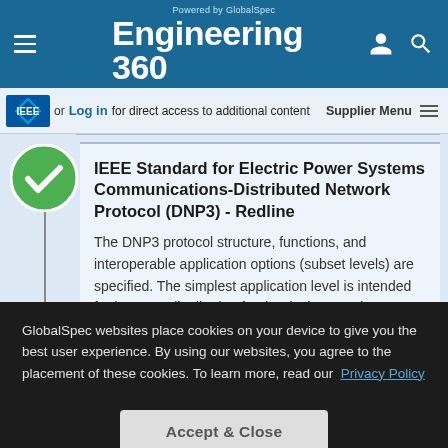Powered by GlobalSpec Engineering360
or Log in for direct access to additional content Supplier Menu
IEEE Standard for Electric Power Systems Communications-Distributed Network Protocol (DNP3) - Redline
The DNP3 protocol structure, functions, and interoperable application options (subset levels) are specified. The simplest application level is intended for low-cost distribution feeder devices, and...
GlobalSpec websites place cookies on your device to give you the best user experience. By using our websites, you agree to the placement of these cookies. To learn more, read our Privacy Policy
Accept & Close